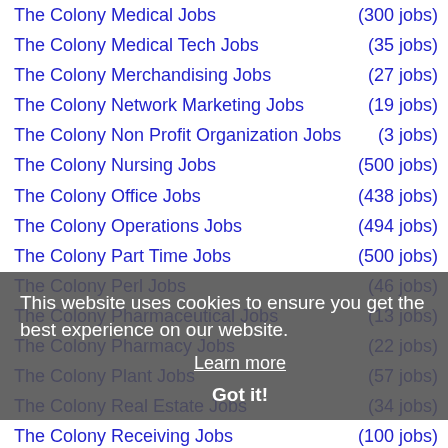The Colony Medical Jobs (300 jobs)
The Colony Medical Tech Jobs (35 jobs)
The Colony Merchandising Jobs (27 jobs)
The Colony Network Marketing Jobs (19 jobs)
The Colony Non Profit Organization Jobs (3 jobs)
The Colony Nursing Jobs (500 jobs)
The Colony Office Jobs (438 jobs)
The Colony Operations Jobs (494 jobs)
The Colony Part Time Jobs (500 jobs)
The Colony Perl Jobs (46 jobs)
The Colony Pharmaceutical Jobs (13 jobs)
The Colony Pharmacy Jobs (22 jobs)
The Colony Plant Jobs (57 jobs)
The Colony Real Estate Jobs (34 jobs)
The Colony Receiving Jobs (100 jobs)
The Colony Research Jobs (266 jobs)
The Colony Restaurant Jobs (299 jobs)
The Colony Retail Jobs (161 jobs)
The Colony Retail Management Jobs (89 jobs)
The Colony Retail Sales Jobs (64 jobs)
This website uses cookies to ensure you get the best experience on our website. Learn more Got it!